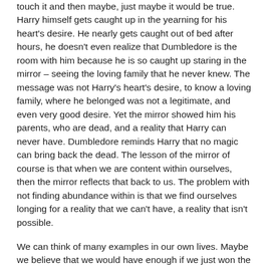touch it and then maybe, just maybe it would be true. Harry himself gets caught up in the yearning for his heart's desire. He nearly gets caught out of bed after hours, he doesn't even realize that Dumbledore is the room with him because he is so caught up staring in the mirror – seeing the loving family that he never knew. The message was not Harry's heart's desire, to know a loving family, where he belonged was not a legitimate, and even very good desire. Yet the mirror showed him his parents, who are dead, and a reality that Harry can never have. Dumbledore reminds Harry that no magic can bring back the dead. The lesson of the mirror of course is that when we are content within ourselves, then the mirror reflects that back to us. The problem with not finding abundance within is that we find ourselves longing for a reality that we can't have, a reality that isn't possible.
We can think of many examples in our own lives. Maybe we believe that we would have enough if we just won the lottery and money was no longer a concern. Maybe it is a lost opportunity from the past – if we had just taken that road instead of the one we did. Maybe a person we lost touch with. It is not that the desire is bad, it is when the desires fill us with a yearning that often it becomes something that reality